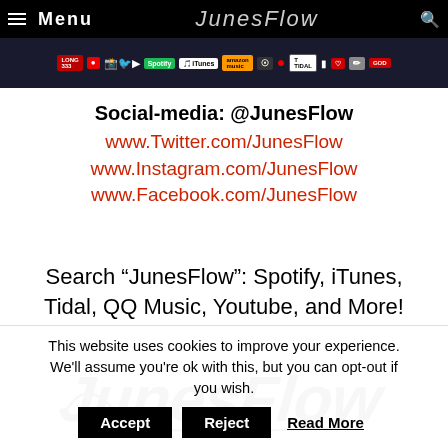Menu | JunesFlow [navigation bar with social media platform icons]
Social-media: @JunesFlow
www.Twitter.com/JunesFlow
www.Instagram.com/JunesFlow
www.Facebook.com/JunesFlow
Search “JunesFlow”: Spotify, iTunes, Tidal, QQ Music, Youtube, and More!
[Figure (logo): JunesFlow graffiti-style logo in black ink]
This website uses cookies to improve your experience. We'll assume you're ok with this, but you can opt-out if you wish. Accept  Reject  Read More